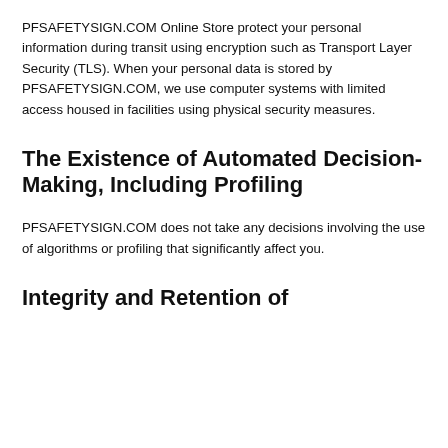PFSAFETYSIGN.COM Online Store protect your personal information during transit using encryption such as Transport Layer Security (TLS). When your personal data is stored by PFSAFETYSIGN.COM, we use computer systems with limited access housed in facilities using physical security measures.
The Existence of Automated Decision-Making, Including Profiling
PFSAFETYSIGN.COM does not take any decisions involving the use of algorithms or profiling that significantly affect you.
Integrity and Retention of